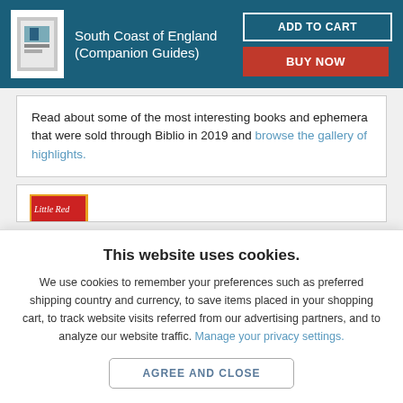[Figure (screenshot): Book product header with teal background showing South Coast of England (Companion Guides) book thumbnail, title, ADD TO CART and BUY NOW buttons]
Read about some of the most interesting books and ephemera that were sold through Biblio in 2019 and browse the gallery of highlights.
[Figure (photo): Partial view of a book cover showing 'Little Red' text in red and green colors]
This website uses cookies.
We use cookies to remember your preferences such as preferred shipping country and currency, to save items placed in your shopping cart, to track website visits referred from our advertising partners, and to analyze our website traffic. Manage your privacy settings.
AGREE AND CLOSE